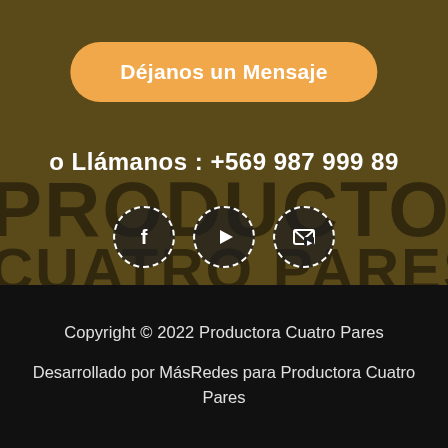[Figure (screenshot): Website section with olive/dark gold background, showing a 'Déjanos un Mensaje' (Leave us a Message) orange pill-shaped button, phone number text, social media icons (Facebook, YouTube, email), and large background watermark text reading PRODUCTORA CUATRO PARES]
o Llámanos : +569 987 999 89
[Figure (other): Three social media icon circles with dashed white borders: Facebook (f), YouTube (play button), and email/message icon]
Copyright © 2022 Productora Cuatro Pares
Desarrollado por MásRedes para Productora Cuatro Pares